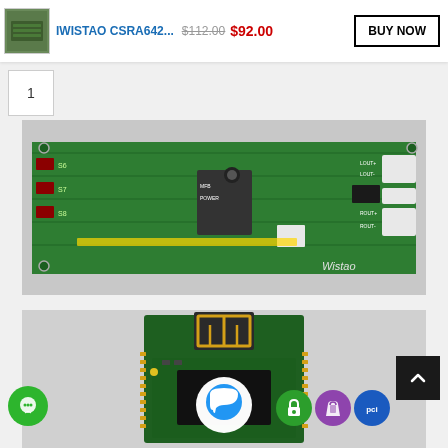IWISTAO CSRA642... $112.00 $92.00 BUY NOW
1
[Figure (photo): Top-down view of a green PCB circuit board with Bluetooth audio amplifier chip (CSRA642), labeled connectors S6, S7, S8, MFB, POWER, LOUT+, LOUT-, ROUT+, ROUT-, white plastic connectors on right side, Wistao logo in bottom right corner]
[Figure (photo): Close-up of a small green Bluetooth module PCB with gold antenna trace at top, circuit components visible, blue chat bubble icon overlaid on center of image, green circular chat icon at bottom left, shopping icons at bottom right]
[Figure (other): UI overlay icons: white chat bubble with blue icon, green circular chat button, dark scroll-to-top button with up arrow, green lock icon, purple Shopify bag icon, blue PCI icon]